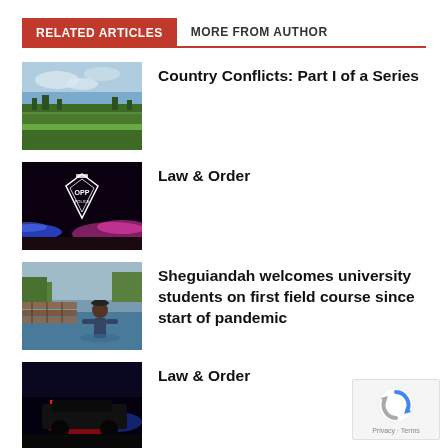RELATED ARTICLES
MORE FROM AUTHOR
[Figure (photo): Rural green field landscape under cloudy sky]
Country Conflicts: Part I of a Series
[Figure (photo): OPP police car with flashing lights at night showing OPP badge logo]
Law & Order
[Figure (photo): Person standing in shallow water near wooden dock]
Sheguiandah welcomes university students on first field course since start of pandemic
[Figure (photo): Police car with red and blue flashing lights at night]
Law & Order